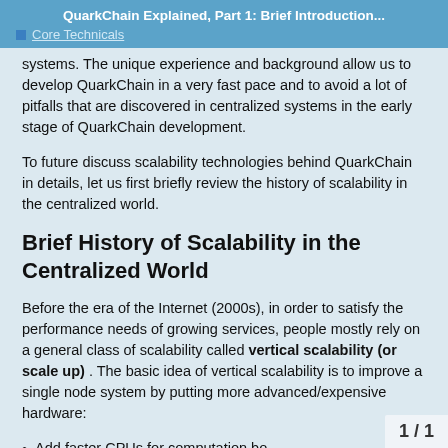QuarkChain Explained, Part 1: Brief Introduction...
Core Technicals
systems. The unique experience and background allow us to develop QuarkChain in a very fast pace and to avoid a lot of pitfalls that are discovered in centralized systems in the early stage of QuarkChain development.
To future discuss scalability technologies behind QuarkChain in details, let us first briefly review the history of scalability in the centralized world.
Brief History of Scalability in the Centralized World
Before the era of the Internet (2000s), in order to satisfy the performance needs of growing services, people mostly rely on a general class of scalability called vertical scalability (or scale up) . The basic idea of vertical scalability is to improve a single node system by putting more advanced/expensive hardware:
Add faster CPUs for computation bo...
1 / 1